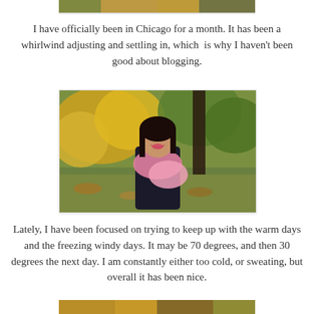[Figure (photo): Top portion of a photo, partially cropped at the top of the page, showing autumn foliage.]
I have officially been in Chicago for a month. It has been a whirlwind adjusting and settling in, which  is why I haven't been good about blogging.
[Figure (photo): A smiling young woman with dark hair wearing a dark jacket and pink scarf, standing outdoors among autumn trees with yellow and orange foliage.]
Lately, I have been focused on trying to keep up with the warm days and the freezing windy days. It may be 70 degrees, and then 30 degrees the next day. I am constantly either too cold, or sweating, but overall it has been nice.
[Figure (photo): Bottom portion of another photo, partially cropped at the bottom of the page, showing autumn colors.]